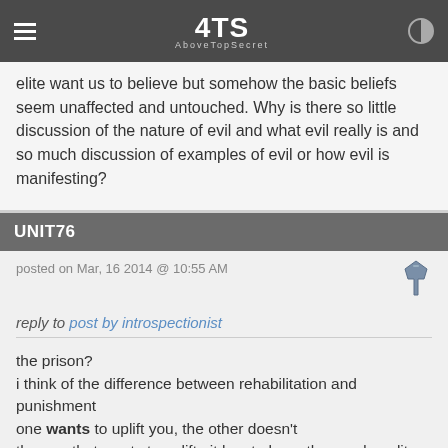4TS AboveTopSecret
elite want us to believe but somehow the basic beliefs seem unaffected and untouched. Why is there so little discussion of the nature of evil and what evil really is and so much discussion of examples of evil or how evil is manifesting?
UNIT76
posted on Mar, 16 2014 @ 10:55 AM
reply to post by introspectionist
the prison?
i think of the difference between rehabilitation and punishment
one wants to uplift you, the other doesn't
the one that wants to uplift.. it has to have the good quality in the first place